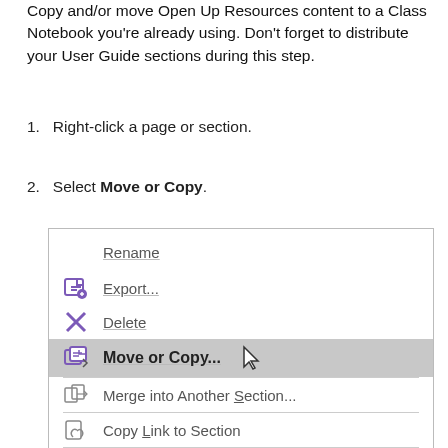Copy and/or move Open Up Resources content to a Class Notebook you're already using. Don't forget to distribute your User Guide sections during this step.
1. Right-click a page or section.
2. Select Move or Copy.
[Figure (screenshot): Context menu screenshot showing menu items: Rename, Export..., Delete, Move or Copy... (highlighted/selected with cursor), Merge into Another Section..., Copy Link to Section, New Section, and partially visible New Section G...]